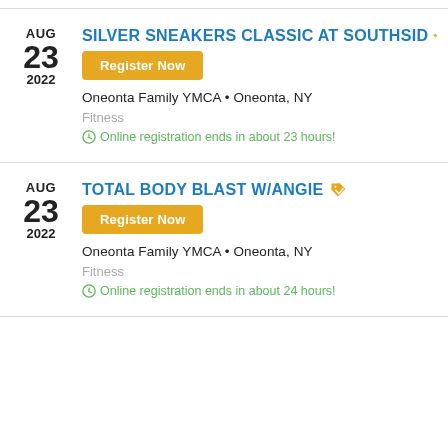AUG 23 2022 — SILVER SNEAKERS CLASSIC AT SOUTHSIDE — Register Now — Oneonta Family YMCA • Oneonta, NY — Fitness — Online registration ends in about 23 hours!
AUG 23 2022 — TOTAL BODY BLAST W/ANGIE — Register Now — Oneonta Family YMCA • Oneonta, NY — Fitness — Online registration ends in about 24 hours!